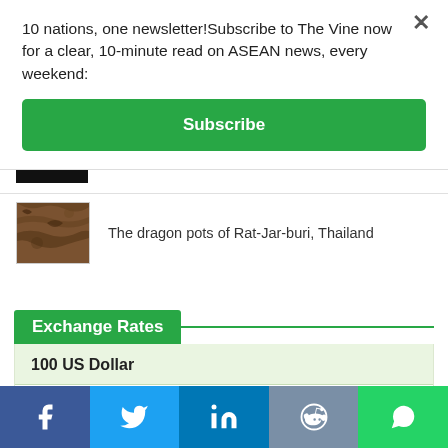10 nations, one newsletter!Subscribe to The Vine now for a clear, 10-minute read on ASEAN news, every weekend:
Subscribe
[Figure (photo): Small thumbnail image (dark/black bar)]
The dragon pots of Rat-Jar-buri, Thailand
Exchange Rates
100 US Dollar
US Dollar
100.0000